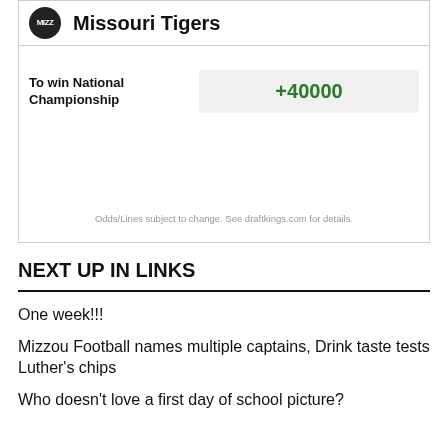Missouri Tigers
| Bet Type | Odds |
| --- | --- |
| To win National Championship | +40000 |
Odds/Lines subject to change. See draftkings.com for details.
NEXT UP IN LINKS
One week!!!
Mizzou Football names multiple captains, Drink taste tests Luther's chips
Who doesn't love a first day of school picture?